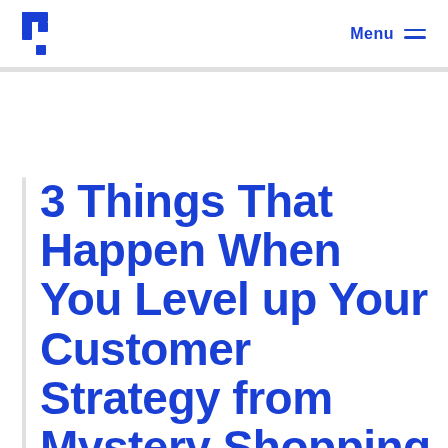Menu
3 Things That Happen When You Level up Your Customer Strategy from Mystery Shopping to a CX